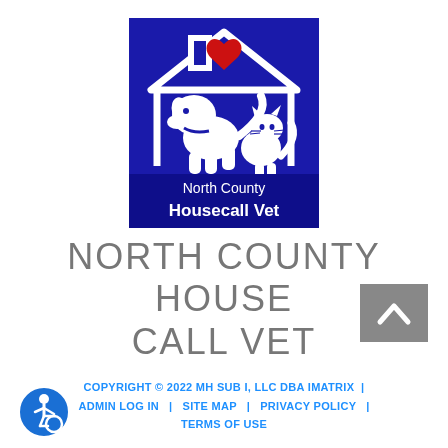[Figure (logo): North County Housecall Vet logo: blue square with white house outline, red heart, silhouette of dog and cat, text 'North County Housecall Vet' on blue background]
NORTH COUNTY HOUSE CALL VET
[Figure (other): Grey back-to-top button with white upward chevron arrow]
COPYRIGHT © 2022 MH SUB I, LLC DBA IMATRIX  |  ADMIN LOG IN  |  SITE MAP  |  PRIVACY POLICY  |  TERMS OF USE
[Figure (other): Blue circular accessibility icon with wheelchair user symbol]